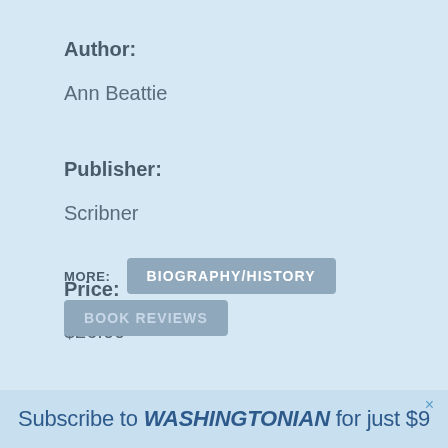Author:
Ann Beattie
Publisher:
Scribner
Price:
$26.00
Order this Book
MORE:
BIOGRAPHY/HISTORY
BOOK REVIEWS
Subscribe to WASHINGTONIAN for just $9